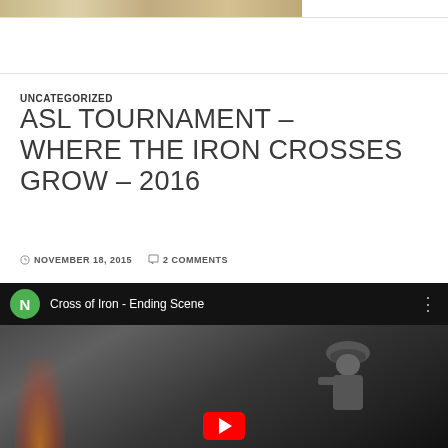[Figure (photo): Banner image at top of page, partial view of a beige/tan colored image]
UNCATEGORIZED
ASL TOURNAMENT – WHERE THE IRON CROSSES GROW – 2016
NOVEMBER 18, 2015   2 COMMENTS
[Figure (screenshot): YouTube video embed showing 'Cross of Iron - Ending Scene' with a green N avatar, dark background with soldier figure and fire, red play button visible at bottom]